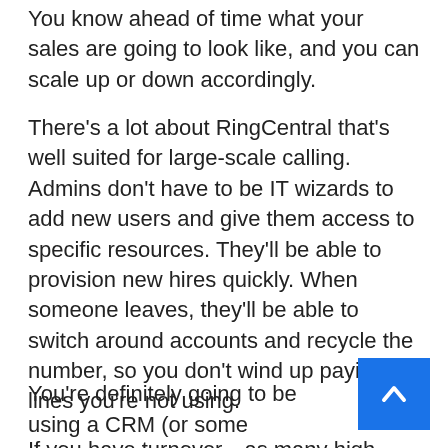You know ahead of time what your sales are going to look like, and you can scale up or down accordingly.
There's a lot about RingCentral that's well suited for large-scale calling. Admins don't have to be IT wizards to add new users and give them access to specific resources. They'll be able to provision new hires quickly. When someone leaves, they'll be able to switch around accounts and recycle the number, so you don't wind up paying for lines you're not using.
If you have turnover—as many high-volume calling occupations do—you need to be mindful of your database integrity. RingCentral makes it easy to limit access to resources and revoke it if need
You're definitely going to be using a CRM (or some